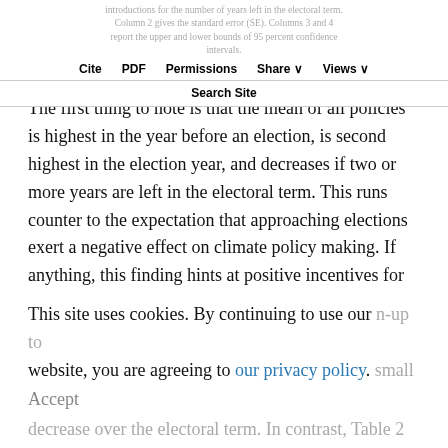introductions for the number of years left in the electoral term. Column 2 gives the standard error (SE). Columns 3 and 4 report the upper and lower bounds of 95 percent confidence intervals.
Cite | PDF | Permissions | Share | Views | Search Site
The first thing to note is that the mean of all policies is highest in the year before an election, is second highest in the election year, and decreases if two or more years are left in the electoral term. This runs counter to the expectation that approaching elections exert a negative effect on climate policy making. If anything, this finding hints at positive incentives for introducing climate policies as the election approaches. Neither do these descriptive results suggest that hard climate policies increase substantially in the run-up to elections. At best, there appears to be a rather small decrease over the electoral term. In contrast, Table 2
This site uses cookies. By continuing to use our website, you are agreeing to our privacy policy. Accept